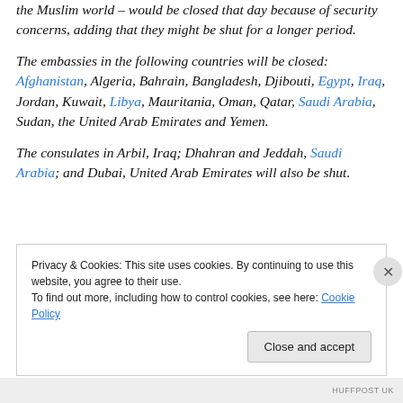the Muslim world – would be closed that day because of security concerns, adding that they might be shut for a longer period.
The embassies in the following countries will be closed: Afghanistan, Algeria, Bahrain, Bangladesh, Djibouti, Egypt, Iraq, Jordan, Kuwait, Libya, Mauritania, Oman, Qatar, Saudi Arabia, Sudan, the United Arab Emirates and Yemen.
The consulates in Arbil, Iraq; Dhahran and Jeddah, Saudi Arabia; and Dubai, United Arab Emirates will also be shut.
Privacy & Cookies: This site uses cookies. By continuing to use this website, you agree to their use.
To find out more, including how to control cookies, see here: Cookie Policy
Close and accept